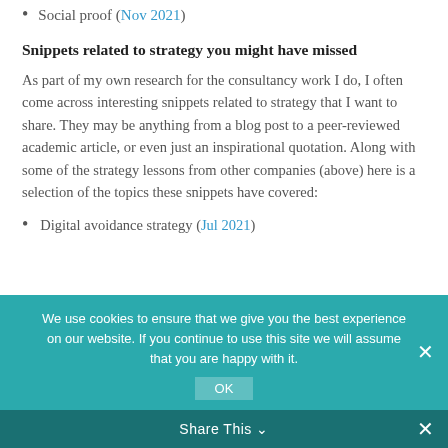Social proof (Nov 2021)
Snippets related to strategy you might have missed
As part of my own research for the consultancy work I do, I often come across interesting snippets related to strategy that I want to share. They may be anything from a blog post to a peer-reviewed academic article, or even just an inspirational quotation. Along with some of the strategy lessons from other companies (above) here is a selection of the topics these snippets have covered:
Digital avoidance strategy (Jul 2021)
We use cookies to ensure that we give you the best experience on our website. If you continue to use this site we will assume that you are happy with it.
Share This